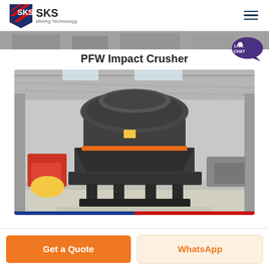SKS Mining Technology
PFW Impact Crusher
[Figure (photo): PFW Impact Crusher machine in a factory/warehouse setting. Large dark gray industrial crushing machine on a concrete floor with gravel, inside a steel-frame industrial building.]
Get a Quote
WhatsApp